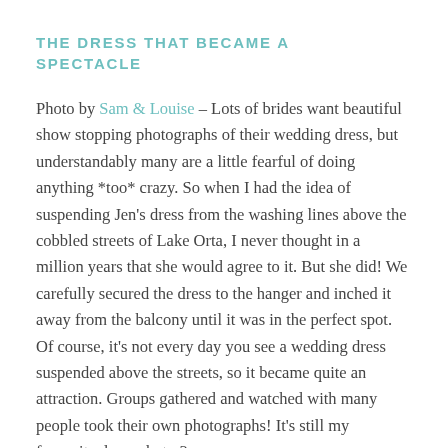THE DRESS THAT BECAME A SPECTACLE
Photo by Sam & Louise – Lots of brides want beautiful show stopping photographs of their wedding dress, but understandably many are a little fearful of doing anything *too* crazy. So when I had the idea of suspending Jen's dress from the washing lines above the cobbled streets of Lake Orta, I never thought in a million years that she would agree to it. But she did! We carefully secured the dress to the hanger and inched it away from the balcony until it was in the perfect spot. Of course, it's not every day you see a wedding dress suspended above the streets, so it became quite an attraction. Groups gathered and watched with many people took their own photographs! It's still my favourite dress photo 3 years on.